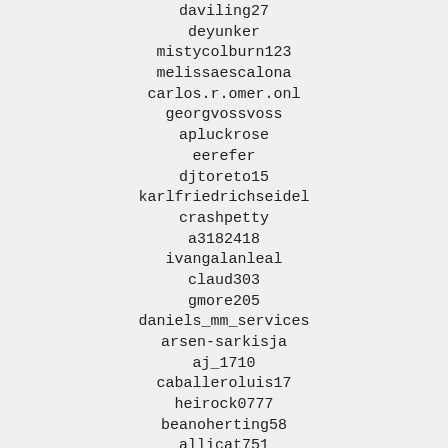daviling27
deyunker
mistycolburn123
melissaescalona
carlos.r.omer.onl
georgvossvoss
apluckrose
eerefer
djtoreto15
karlfriedrichseidel
crashpetty
a3182418
ivangalanleal
claud303
gmore205
daniels_mm_services
arsen-sarkisja
aj_1710
caballeroluis17
heirock0777
beanoherting58
allicat751
dmxkid92
mauro_po96